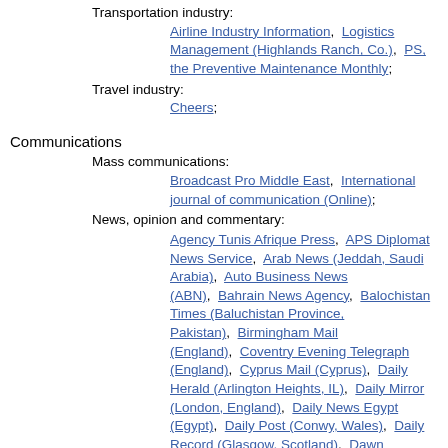Transportation industry:
Airline Industry Information, Logistics Management (Highlands Ranch, Co.), PS, the Preventive Maintenance Monthly;
Travel industry:
Cheers;
Communications
Mass communications:
Broadcast Pro Middle East, International journal of communication (Online);
News, opinion and commentary:
Agency Tunis Afrique Press, APS Diplomat News Service, Arab News (Jeddah, Saudi Arabia), Auto Business News (ABN), Bahrain News Agency, Balochistan Times (Baluchistan Province, Pakistan), Birmingham Mail (England), Coventry Evening Telegraph (England), Cyprus Mail (Cyprus), Daily Herald (Arlington Heights, IL), Daily Mirror (London, England), Daily News Egypt (Egypt), Daily Post (Conwy, Wales), Daily Record (Glasgow, Scotland), Dawn (Karachi, Pakistan), Evening Chronicle (Newcastle, England), Evening Gazette (Middlesbrough, England), FARS News Agency, Frontier Post (Peshawar, Pakistan), Get West London (Watford, England), Global Banking News (GBN), Gulf Daily News (Manama, Bahrain), Gulf Times (Doha, Qatar), Huddersfield Daily Examiner (Huddersfield, England), International Business Times - US ed., International Resource News (IRN), ITP.net, Jordan News Agency (Petra), Khaleej Times (Bahrain...